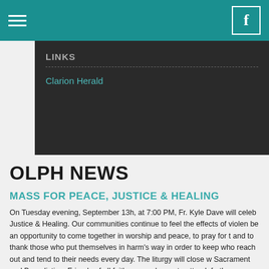OLPH Parish website header with hamburger menu and Facebook icon
LINKS
Clarion Herald
OLPH NEWS
MASS FOR PEACE, JUSTICE & HEALING
On Tuesday evening, September 13h, at 7:00 PM, Fr. Kyle Dave will celeb... Justice & Healing. Our communities continue to feel the effects of violen... be an opportunity to come together in worship and peace, to pray for t... and to thank those who put themselves in harm’s way in order to keep... who reach out and tend to their needs every day. The liturgy will close w... Sacrament and Benediction. Friends of all faiths are welcome to attend.... further information, contact the Parish Office at 504-394-0314 or church...
CALLING ALL PSR STUDENTS!